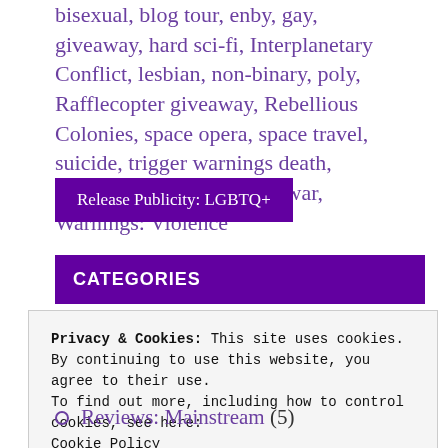bisexual, blog tour, enby, gay, giveaway, hard sci-fi, Interplanetary Conflict, lesbian, non-binary, poly, Rafflecopter giveaway, Rebellious Colonies, space opera, space travel, suicide, trigger warnings death, Trigger warnings murder, war, Warnings: Violence
Release Publicity: LGBTQ+
CATEGORIES
LGBTQ+ (4,270)
Privacy & Cookies: This site uses cookies. By continuing to use this website, you agree to their use.
To find out more, including how to control cookies, see here:
Cookie Policy
Reviews: Mainstream (5)